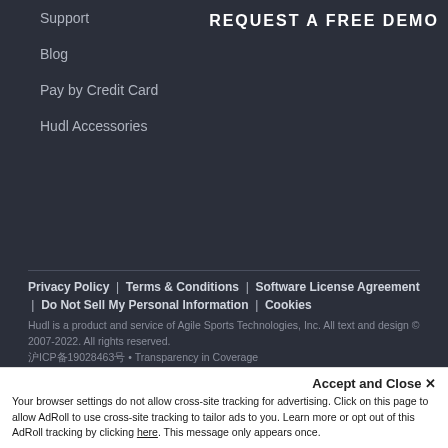REQUEST A FREE DEMO
Support
Blog
Pay by Credit Card
Hudl Accessories
Privacy Policy | Terms & Conditions | Software License Agreement | Do Not Sell My Personal Information | Cookies
Hudl is a product and service of Agile Sports Technologies, Inc. All text and design © 2007-2022. All rights reserved.
沪ICP备19028463号 • Transparency in Coverage
[Figure (other): Social media icons: Twitter, Facebook, Instagram, YouTube]
Accept and Close ✕
Your browser settings do not allow cross-site tracking for advertising. Click on this page to allow AdRoll to use cross-site tracking to tailor ads to you. Learn more or opt out of this AdRoll tracking by clicking here. This message only appears once.